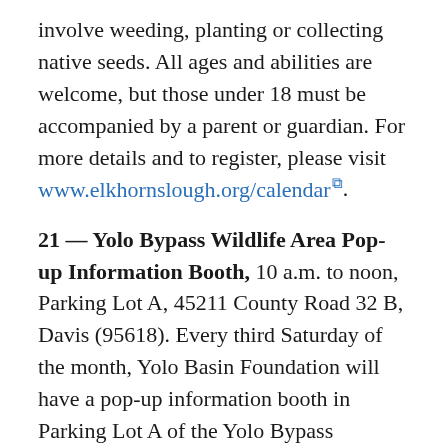involve weeding, planting or collecting native seeds. All ages and abilities are welcome, but those under 18 must be accompanied by a parent or guardian. For more details and to register, please visit www.elkhornslough.org/calendar.
21 — Yolo Bypass Wildlife Area Pop-up Information Booth, 10 a.m. to noon, Parking Lot A, 45211 County Road 32 B, Davis (95618). Every third Saturday of the month, Yolo Basin Foundation will have a pop-up information booth in Parking Lot A of the Yolo Bypass Wildlife Area. If you've never visited the area or have questions, it is a great time to visit since volunteers will be present to hand out maps of the auto tour route and hiking trails, provide information about what to keep an eye out for and answer questions as